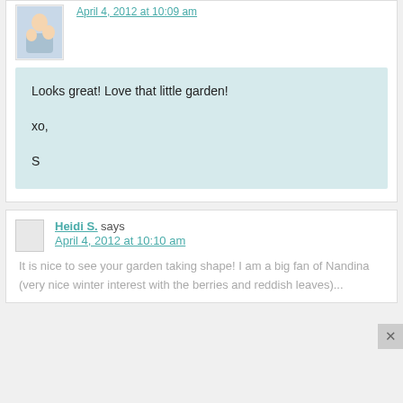[Figure (photo): Small family photo avatar showing a group of people]
April 4, 2012 at 10:09 am
Looks great! Love that little garden!

xo,
S
Heidi S. says
April 4, 2012 at 10:10 am
It is nice to see your garden taking shape! I am a big fan of Nandina (very nice winter interest with the berries and reddish leaves)...